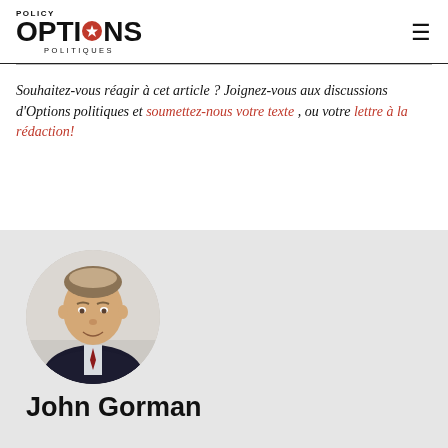Policy OPTIONS POLITIQUES
Souhaitez-vous réagir à cet article ? Joignez-vous aux discussions d'Options politiques et soumettez-nous votre texte , ou votre lettre à la rédaction!
[Figure (photo): Circular headshot of John Gorman, a middle-aged man in a dark suit and red tie, smiling, against a light background.]
John Gorman